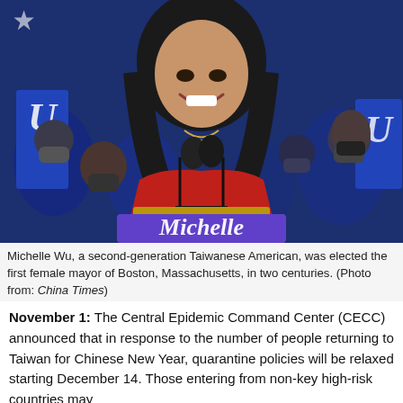[Figure (photo): Michelle Wu smiling at a podium with a purple/blue banner reading 'Michelle', wearing a red outfit. Crowd with masks in background, blue campaign flags visible.]
Michelle Wu, a second-generation Taiwanese American, was elected the first female mayor of Boston, Massachusetts, in two centuries. (Photo from: China Times)
November 1: The Central Epidemic Command Center (CECC) announced that in response to the number of people returning to Taiwan for Chinese New Year, quarantine policies will be relaxed starting December 14. Those entering from non-key high-risk countries may